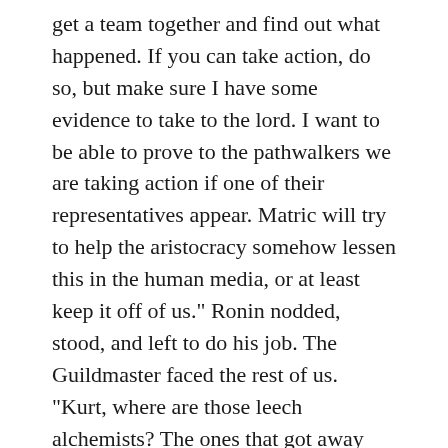get a team together and find out what happened. If you can take action, do so, but make sure I have some evidence to take to the lord. I want to be able to prove to the pathwalkers we are taking action if one of their representatives appear. Matric will try to help the aristocracy somehow lessen this in the human media, or at least keep it off of us." Ronin nodded, stood, and left to do his job. The Guildmaster faced the rest of us. "Kurt, where are those leech alchemists? The ones that got away from the Order."
"The reports I have from my packs and the kin say that a ragged band of leeches holed in one of their holdings in Ybor. Right now, we have no assets in place down there. The pack holding Ybor is busy fighting the leeches in the area. I can get a team there in about three hours, but it leaves some of our other targets